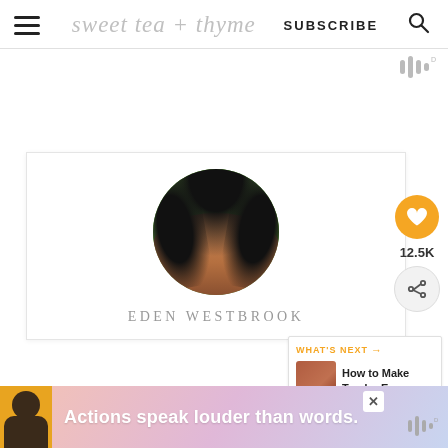sweet tea + thyme   SUBSCRIBE
[Figure (photo): Circular profile photo of Eden Westbrook, a woman with long curly dark hair, smiling, with green foliage background]
12.5K
WHAT'S NEXT → How to Make Tender Eye ...
Eden Westbrook
[Figure (photo): Advertisement banner: person in yellow shirt with text 'Actions speak louder than words.']